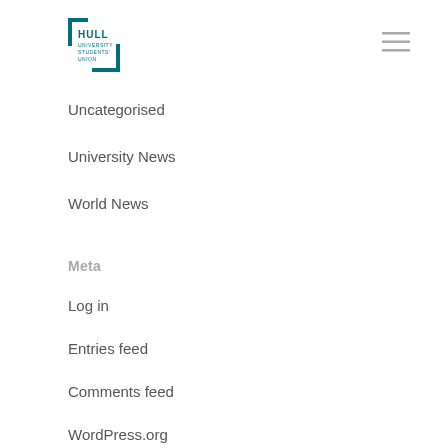[Figure (logo): Hull University Students Union logo in teal color with bracket design]
Uncategorised
University News
World News
Meta
Log in
Entries feed
Comments feed
WordPress.org